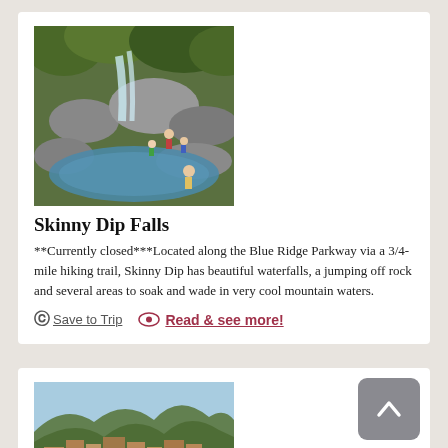[Figure (photo): Photo of Skinny Dip Falls waterfall with rocks and people swimming in pool]
Skinny Dip Falls
**Currently closed***Located along the Blue Ridge Parkway via a 3/4-mile hiking trail, Skinny Dip has beautiful waterfalls, a jumping off rock and several areas to soak and wade in very cool mountain waters.
Save to Trip | Read & see more!
[Figure (photo): Aerial photo of a mountain town with buildings and colorful autumn trees]
BACK TO TOP